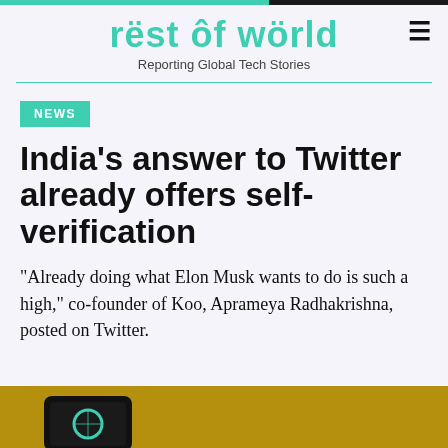rëst ôf wörld — Reporting Global Tech Stories
NEWS
India's answer to Twitter already offers self-verification
“Already doing what Elon Musk wants to do is such a high,” co-founder of Koo, Aprameya Radhakrishna, posted on Twitter.
[Figure (photo): Bottom portion of a smartphone on a golden/yellow background, partially visible at the bottom of the page.]